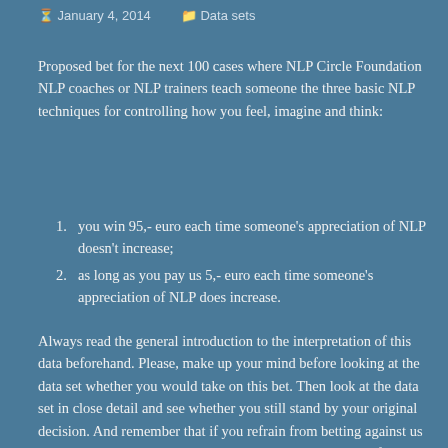January 4, 2014   Data sets
Proposed bet for the next 100 cases where NLP Circle Foundation NLP coaches or NLP trainers teach someone the three basic NLP techniques for controlling how you feel, imagine and think:
you win 95,- euro each time someone's appreciation of NLP doesn't increase;
as long as you pay us 5,- euro each time someone's appreciation of NLP does increase.
Always read the general introduction to the interpretation of this data beforehand. Please, make up your mind before looking at the data set whether you would take on this bet. Then look at the data set in close detail and see whether you still stand by your original decision. And remember that if you refrain from betting against us your true probability estimation is at least as high as ours if not higher.